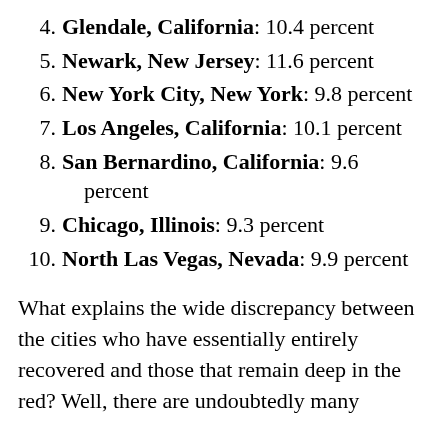4. Glendale, California: 10.4 percent
5. Newark, New Jersey: 11.6 percent
6. New York City, New York: 9.8 percent
7. Los Angeles, California: 10.1 percent
8. San Bernardino, California: 9.6 percent
9. Chicago, Illinois: 9.3 percent
10. North Las Vegas, Nevada: 9.9 percent
What explains the wide discrepancy between the cities who have essentially entirely recovered and those that remain deep in the red? Well, there are undoubtedly many